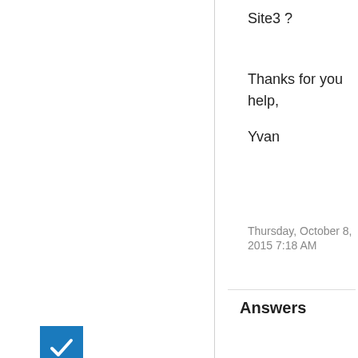Site3 ?
Thanks for you help,
Yvan
Thursday, October 8, 2015 7:18 AM
Answers
[Figure (other): Blue checkbox icon with white checkmark]
0
Sign in to vote
Hi